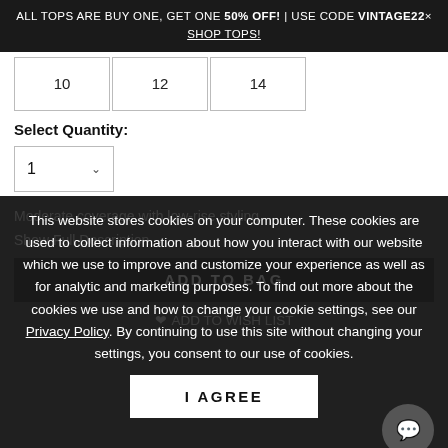ALL TOPS ARE BUY ONE, GET ONE 50% OFF! | USE CODE VINTAGE22× SHOP TOPS!
10  12  14
Select Quantity:
1
Moderate coverage with low-rise styling.
Show Full Description
ADD TO BAG
ADD TO WISH LIST
This website stores cookies on your computer. These cookies are used to collect information about how you interact with our website which we use to improve and customize your experience as well as for analytic and marketing purposes. To find out more about the cookies we use and how to change your cookie settings, see our Privacy Policy. By continuing to use this site without changing your settings, you consent to our use of cookies.
I AGREE
YOU'LL ALSO LOVE